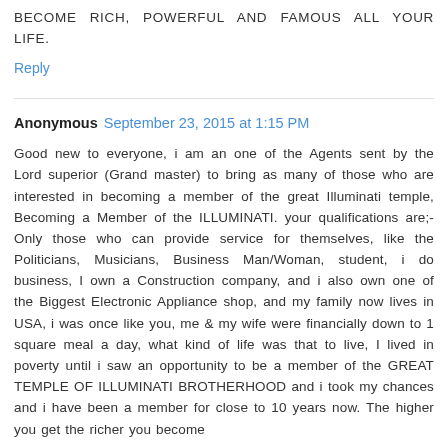BECOME RICH, POWERFUL AND FAMOUS ALL YOUR LIFE.
Reply
Anonymous  September 23, 2015 at 1:15 PM
Good new to everyone, i am an one of the Agents sent by the Lord superior (Grand master) to bring as many of those who are interested in becoming a member of the great Illuminati temple, Becoming a Member of the ILLUMINATI. your qualifications are;-Only those who can provide service for themselves, like the Politicians, Musicians, Business Man/Woman, student, i do business, I own a Construction company, and i also own one of the Biggest Electronic Appliance shop, and my family now lives in USA, i was once like you, me & my wife were financially down to 1 square meal a day, what kind of life was that to live, I lived in poverty until i saw an opportunity to be a member of the GREAT TEMPLE OF ILLUMINATI BROTHERHOOD and i took my chances and i have been a member for close to 10 years now. The higher you get the richer you become